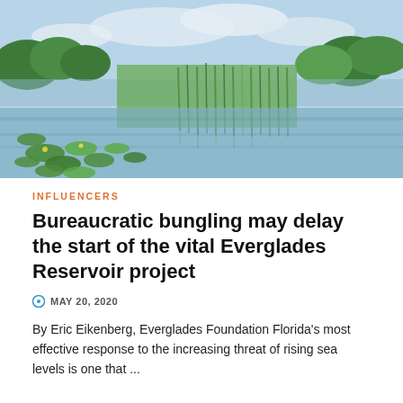[Figure (photo): Everglades wetland scene with lily pads, water, tall green reeds/marsh grass, and trees in the background under a partly cloudy blue sky]
INFLUENCERS
Bureaucratic bungling may delay the start of the vital Everglades Reservoir project
MAY 20, 2020
By Eric Eikenberg, Everglades Foundation Florida's most effective response to the increasing threat of rising sea levels is one that ...